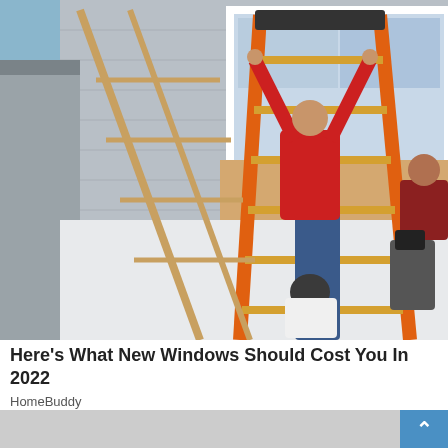[Figure (photo): Workers installing a new window on a house exterior. One person in red shirt and jeans stands on an orange ladder pushing the window into the frame, while another person in white crouches below. Additional people assist from the right side. A second ladder leans against the house on the left.]
Here's What New Windows Should Cost You In 2022
HomeBuddy